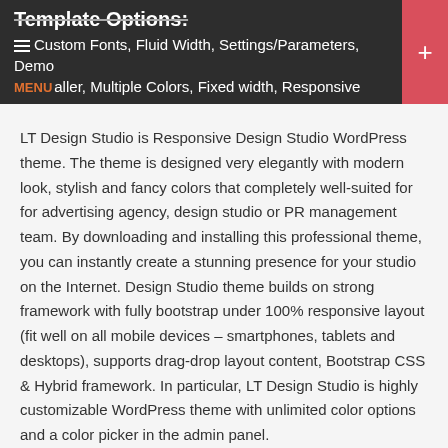Template Options: Custom Fonts, Fluid Width, Settings/Parameters, Demo Installer, Multiple Colors, Fixed width, Responsive
LT Design Studio is Responsive Design Studio WordPress theme. The theme is designed very elegantly with modern look, stylish and fancy colors that completely well-suited for for advertising agency, design studio or PR management team. By downloading and installing this professional theme, you can instantly create a stunning presence for your studio on the Internet. Design Studio theme builds on strong framework with fully bootstrap under 100% responsive layout (fit well on all mobile devices – smartphones, tablets and desktops), supports drag-drop layout content, Bootstrap CSS & Hybrid framework. In particular, LT Design Studio is highly customizable WordPress theme with unlimited color options and a color picker in the admin panel.
It's mobile-friendly responsive!
100% design in template support mobile/tablet